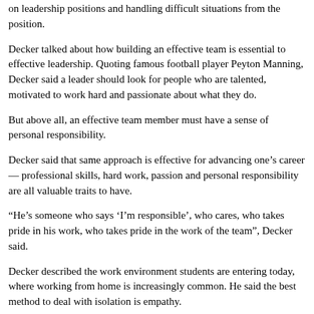on leadership positions and handling difficult situations from the position.
Decker talked about how building an effective team is essential to effective leadership. Quoting famous football player Peyton Manning, Decker said a leader should look for people who are talented, motivated to work hard and passionate about what they do.
But above all, an effective team member must have a sense of personal responsibility.
Decker said that same approach is effective for advancing one’s career — professional skills, hard work, passion and personal responsibility are all valuable traits to have.
“He’s someone who says ‘I’m responsible’, who cares, who takes pride in his work, who takes pride in the work of the team”, Decker said.
Decker described the work environment students are entering today, where working from home is increasingly common. He said the best method to deal with isolation is empathy.